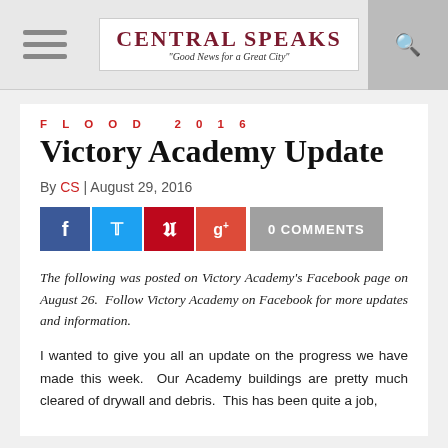Central Speaks — "Good News for a Great City"
FLOOD 2016
Victory Academy Update
By CS | August 29, 2016
0 COMMENTS
The following was posted on Victory Academy's Facebook page on August 26. Follow Victory Academy on Facebook for more updates and information.
I wanted to give you all an update on the progress we have made this week. Our Academy buildings are pretty much cleared of drywall and debris. This has been quite a job,